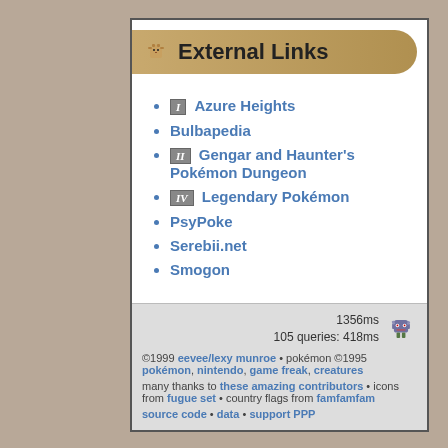External Links
Azure Heights
Bulbapedia
Gengar and Haunter's Pokémon Dungeon
Legendary Pokémon
PsyPoke
Serebii.net
Smogon
1356ms
105 queries: 418ms
©1999 eevee/lexy munroe • pokémon ©1995 pokémon, nintendo, game freak, creatures
many thanks to these amazing contributors • icons from fugue set • country flags from famfamfam
source code • data • support PPP